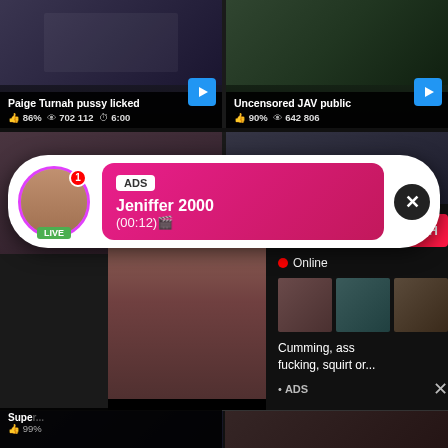[Figure (screenshot): Video thumbnail left - dark scene]
Paige Turnah pussy licked
86%  702 112  6:00
[Figure (screenshot): Video thumbnail right - outdoor scene]
Uncensored JAV public
90%  642 806
[Figure (screenshot): Mid left thumbnail]
Supe...
99%
[Figure (infographic): Live notification popup - ADS Jeniffer 2000 (00:12) with avatar and pink gradient background]
[Figure (infographic): Ad popup - WHAT DO YOU WANT? with WATCH button, Online indicator, preview thumbnails, text: Cumming, ass fucking, squirt or... ADS]